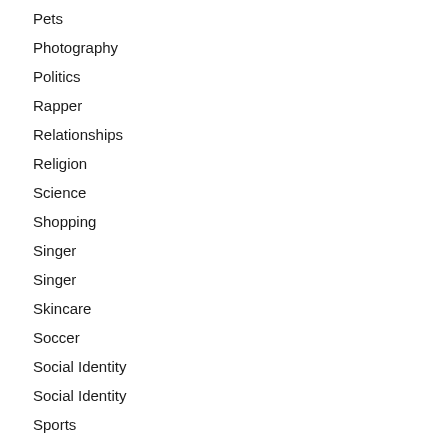People
Pets
Photography
Politics
Rapper
Relationships
Religion
Science
Shopping
Singer
Singer
Skincare
Soccer
Social Identity
Social Identity
Sports